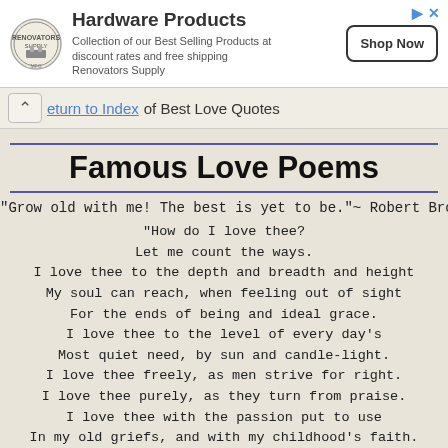[Figure (other): Hardware Products advertisement banner with circular logo, 'Hardware Products' title, description text 'Collection of our Best Selling Products at discount rates and free shipping Renovators Supply', and a 'Shop Now' button.]
eturn to Index of Best Love Quotes
Famous Love Poems
"Grow old with me! The best is yet to be."~ Robert Brown
"How do I love thee?
Let me count the ways.
I love thee to the depth and breadth and height
My soul can reach, when feeling out of sight
For the ends of being and ideal grace.
I love thee to the level of every day's
Most quiet need, by sun and candle-light.
I love thee freely, as men strive for right.
I love thee purely, as they turn from praise.
I love thee with the passion put to use
In my old griefs, and with my childhood's faith.